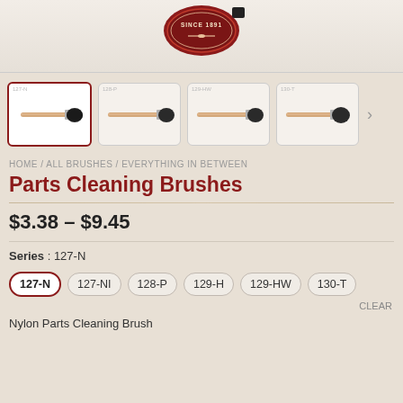[Figure (logo): Circular red logo with text SINCE 1891 and crossed brushes]
[Figure (photo): Four thumbnail images of parts cleaning brushes with wooden handles and dark bristles. The first is selected with a red border.]
HOME / ALL BRUSHES / EVERYTHING IN BETWEEN
Parts Cleaning Brushes
$3.38 – $9.45
Series : 127-N
127-N
127-NI
128-P
129-H
129-HW
130-T
CLEAR
Nylon Parts Cleaning Brush